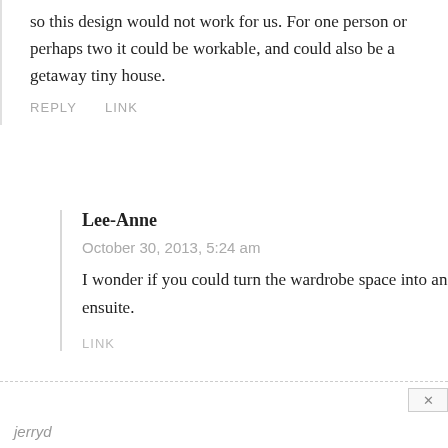so this design would not work for us. For one person or perhaps two it could be workable, and could also be a getaway tiny house.
REPLY   LINK
Lee-Anne
October 30, 2013, 5:24 am
I wonder if you could turn the wardrobe space into an ensuite.
LINK
jerryd